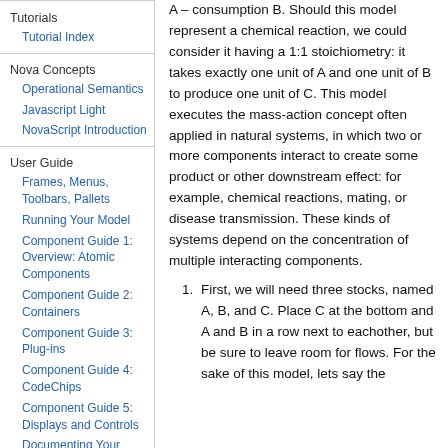Tutorial Index
Nova Concepts
Operational Semantics
Javascript Light
NovaScript Introduction
User Guide
Frames, Menus, Toolbars, Pallets
Running Your Model
Component Guide 1: Overview: Atomic Components
Component Guide 2: Containers
Component Guide 3: Plug-ins
Component Guide 4: CodeChips
Component Guide 5: Displays and Controls
Documenting Your Model
A – consumption B. Should this model represent a chemical reaction, we could consider it having a 1:1 stoichiometry: it takes exactly one unit of A and one unit of B to produce one unit of C. This model executes the mass-action concept often applied in natural systems, in which two or more components interact to create some product or other downstream effect: for example, chemical reactions, mating, or disease transmission. These kinds of systems depend on the concentration of multiple interacting components.
First, we will need three stocks, named A, B, and C. Place C at the bottom and A and B in a row next to eachother, but be sure to leave room for flows. For the sake of this model, lets say the